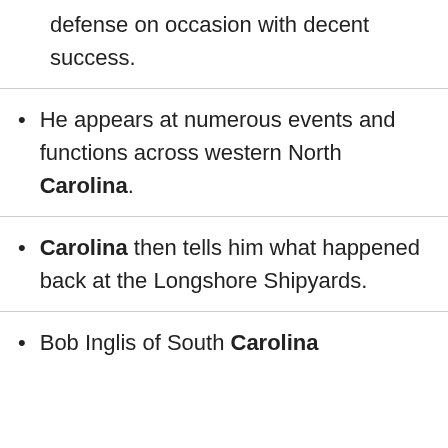defense on occasion with decent success.
He appears at numerous events and functions across western North Carolina.
Carolina then tells him what happened back at the Longshore Shipyards.
Bob Inglis of South Carolina complained to Ruff, who subsequently